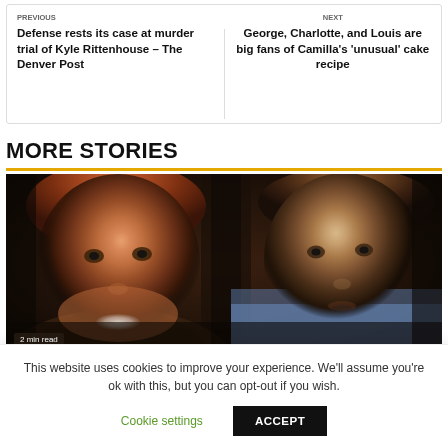Defense rests its case at murder trial of Kyle Rittenhouse – The Denver Post
George, Charlotte, and Louis are big fans of Camilla's 'unusual' cake recipe
MORE STORIES
[Figure (photo): Close-up photo of two men side by side: on the left, a smiling red-haired bearded man (Prince Harry), and on the right, a brown-haired man with mouth slightly open (Prince William), against a dark background.]
2 min read
This website uses cookies to improve your experience. We'll assume you're ok with this, but you can opt-out if you wish.
Cookie settings
ACCEPT